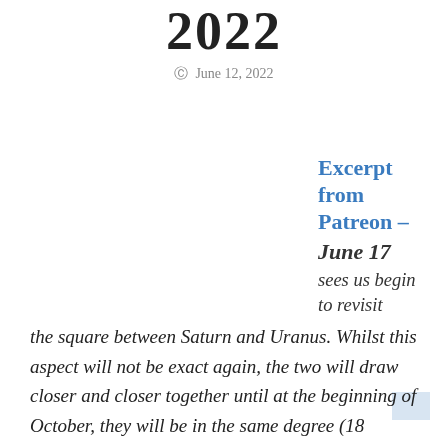2022
© June 12, 2022
Excerpt from Patreon – June 17 sees us begin to revisit the square between Saturn and Uranus. Whilst this aspect will not be exact again, the two will draw closer and closer together until at the beginning of October, they will be in the same degree (18 degrees of